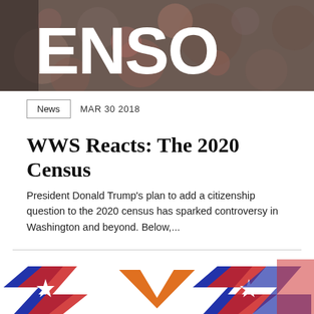[Figure (photo): Blurred crowd photo with large white letters 'ENSO' (partial text, likely 'CENSUS') overlaid at the top]
News   MAR 30 2018
WWS Reacts: The 2020 Census
President Donald Trump's plan to add a citizenship question to the 2020 census has sparked controversy in Washington and beyond. Below,...
[Figure (logo): Colorful political/patriotic logo with red, white, blue and orange chevron/star design, partially visible at bottom of page]